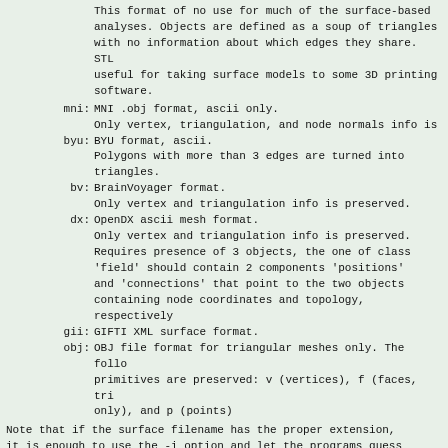This format of no use for much of the surface-based analyses. Objects are defined as a soup of triangles with no information about which edges they share. STL useful for taking surface models to some 3D printing software.
mni: MNI .obj format, ascii only.
      Only vertex, triangulation, and node normals info is
byu: BYU format, ascii.
      Polygons with more than 3 edges are turned into triangles.
bv: BrainVoyager format.
     Only vertex and triangulation info is preserved.
dx: OpenDX ascii mesh format.
     Only vertex and triangulation info is preserved.
     Requires presence of 3 objects, the one of class 'field' should contain 2 components 'positions' and 'connections' that point to the two objects containing node coordinates and topology, respectively
gii: GIFTI XML surface format.
obj: OBJ file format for triangular meshes only. The follo primitives are preserved: v (vertices), f (faces, tri only), and p (points)
Note that if the surface filename has the proper extension, it is enough to use the -i option and let the programs guess the type from the extension.
You can also specify multiple surfaces after -i option. This mak it possible to use wildcards on the command line for reading in of surfaces at once.
-onestate: Make all -i_* surfaces have the same state, i.e.
            they all appear at the same time in the viewer.